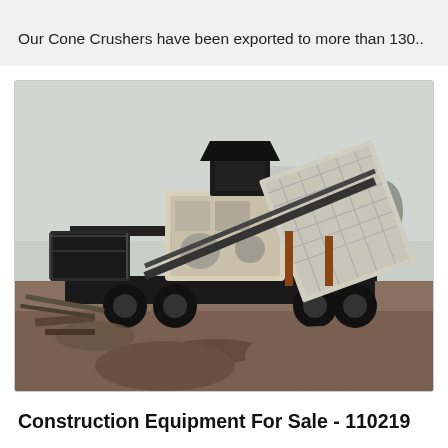Our Cone Crushers have been exported to more than 130..
[Figure (photo): A mobile impact crusher or screening plant mounted on a wheeled trailer frame, photographed outdoors on a construction/mining site on a foggy day. The machine is large, with a dark metal chassis, a feed hopper on top, and a large screening/conveyor structure angled upward to the right. Excavated earth and debris are visible in the foreground.]
Construction Equipment For Sale - 110219